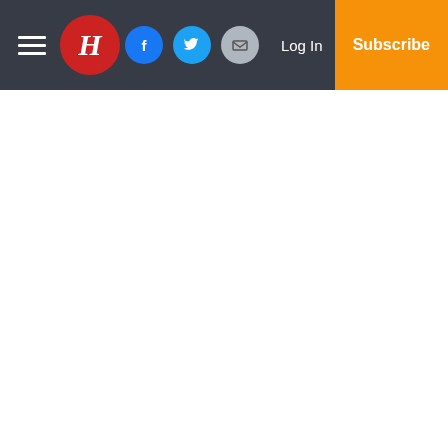Harlan Enterprise navigation bar with hamburger menu, H logo, Facebook, Twitter, Email icons, Log In link, and Subscribe button
Copyright
© 2022, Harlan Enterprise